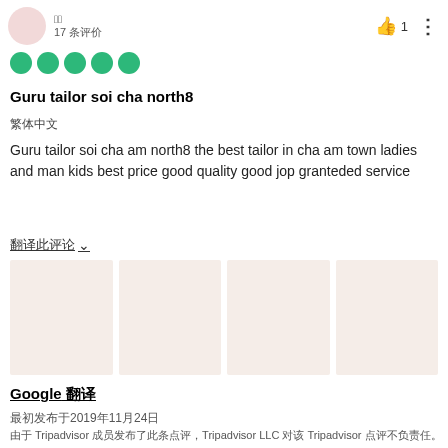17 条评价
[Figure (illustration): Five green filled circles representing a 5-star rating]
Guru tailor soi cha north8
繁体中文
Guru tailor soi cha am north8 the best tailor in cha am town ladies and man kids best price good quality good jop granteded service
翻译评论 ∨
[Figure (illustration): Four image placeholder boxes with light pink/beige background]
Google 翻译
最初发布于2019年11月24日
由于 Tripadvisor 成员发布了此条点评，Tripadvisor LLC 对该 Tripadvisor 点评不负责任。